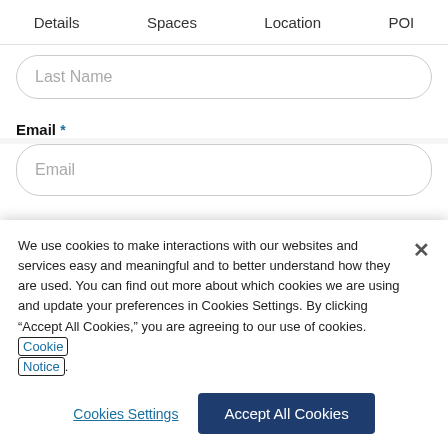Details   Spaces   Location   POI
Last Name
Email *
Email
Phone *
Phone Number
We use cookies to make interactions with our websites and services easy and meaningful and to better understand how they are used. You can find out more about which cookies we are using and update your preferences in Cookies Settings. By clicking “Accept All Cookies,” you are agreeing to our use of cookies. Cookie Notice.
Cookies Settings
Accept All Cookies